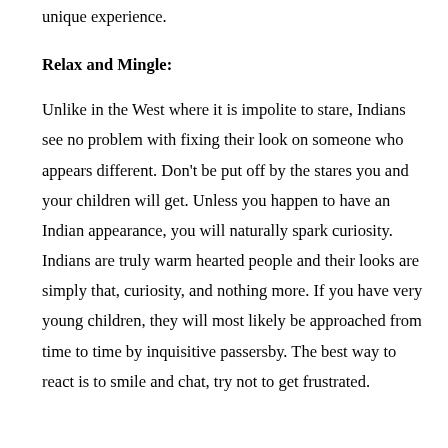unique experience.
Relax and Mingle:
Unlike in the West where it is impolite to stare, Indians see no problem with fixing their look on someone who appears different. Don't be put off by the stares you and your children will get. Unless you happen to have an Indian appearance, you will naturally spark curiosity. Indians are truly warm hearted people and their looks are simply that, curiosity, and nothing more. If you have very young children, they will most likely be approached from time to time by inquisitive passersby. The best way to react is to smile and chat, try not to get frustrated.